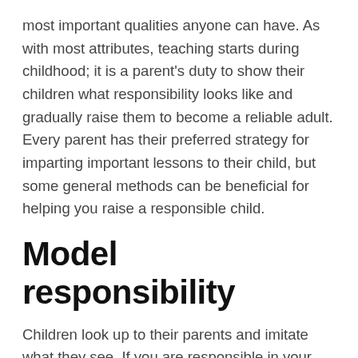most important qualities anyone can have. As with most attributes, teaching starts during childhood; it is a parent's duty to show their children what responsibility looks like and gradually raise them to become a reliable adult. Every parent has their preferred strategy for imparting important lessons to their child, but some general methods can be beneficial for helping you raise a responsible child.
Model responsibility
Children look up to their parents and imitate what they see. If you are responsible in your everyday life and make a point to model and point out this attribute to your child, they will naturally want to copy you. You can explain to your child that daily activities like going to work, cleaning the house, or making dinner are your responsibilities. This will make it easier for them to understand when you begin to give them their own...